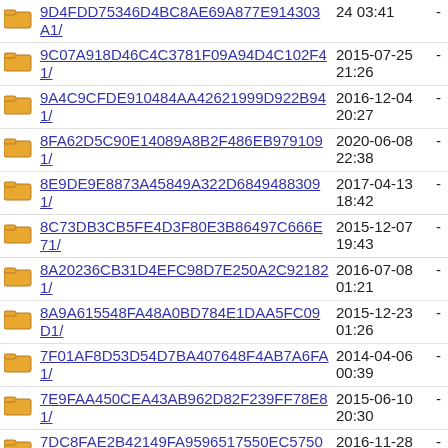9D4FDD75346D4BC8AE69A877E914303A1/ 24 03:41 -
9C07A918D46C4C3781F09A94D4C102F41/ 2015-07-25 21:26 -
9A4C9CFDE910484AA42621999D922B941/ 2016-12-04 20:27 -
8FA62D5C90E14089A8B2F486EB9791091/ 2020-06-08 22:38 -
8E9DE9E8873A45849A322D68494883091/ 2017-04-13 18:42 -
8C73DB3CB5FE4D3F80E3B86497C666E71/ 2015-12-07 19:43 -
8A20236CB31D4EFC98D7E250A2C921821/ 2016-07-08 01:21 -
8A9A615548FA48A0BD784E1DAA5FC09D1/ 2015-12-23 01:26 -
7F01AF8D53D54D7BA407648F4AB7A6FA1/ 2014-04-06 00:39 -
7E9FAA450CEA43AB962D82F239FF78E81/ 2015-06-10 20:30 -
7DC8FAE2B42149FA9596517550EC57501/ 2016-11-28 02:10 -
7C7BF36B03034FCB9FD7F872AA9F7CA81/ 2016-03-